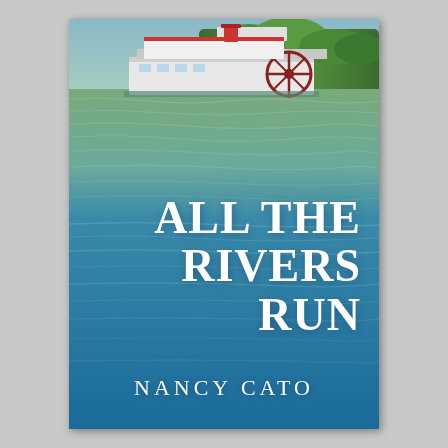[Figure (photo): Book cover of 'All the Rivers Run' by Nancy Cato. A paddlesteamer boat labeled 'P.S. Mildura' is seen from a low river perspective in the upper portion. The river fills most of the image with blue-green water reflecting trees and sky. The book title 'ALL THE RIVERS RUN' is overlaid in large white serif text in the center, and the author name 'NANCY CATO' appears in white spaced capitals near the bottom.]